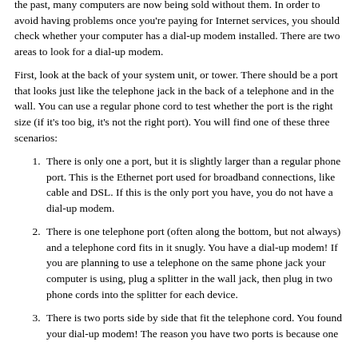the past, many computers are now being sold without them. In order to avoid having problems once you're paying for Internet services, you should check whether your computer has a dial-up modem installed. There are two areas to look for a dial-up modem.
First, look at the back of your system unit, or tower. There should be a port that looks just like the telephone jack in the back of a telephone and in the wall. You can use a regular phone cord to test whether the port is the right size (if it's too big, it's not the right port). You will find one of these three scenarios:
There is only one a port, but it is slightly larger than a regular phone port. This is the Ethernet port used for broadband connections, like cable and DSL. If this is the only port you have, you do not have a dial-up modem.
There is one telephone port (often along the bottom, but not always) and a telephone cord fits in it snugly. You have a dial-up modem! If you are planning to use a telephone on the same phone jack your computer is using, plug a splitter in the wall jack, then plug in two phone cords into the splitter for each device.
There is two ports side by side that fit the telephone cord. You found your dial-up modem! The reason you have two ports is because one